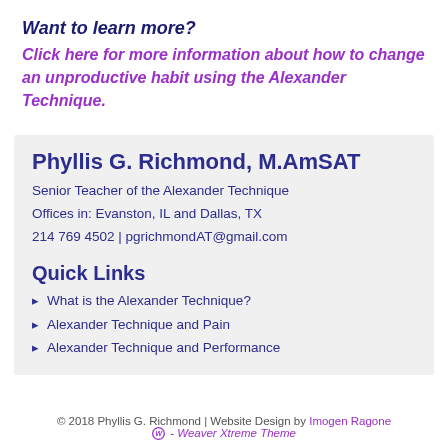Want to learn more?
Click here for more information about how to change an unproductive habit using the Alexander Technique.
Phyllis G. Richmond, M.AmSAT
Senior Teacher of the Alexander Technique
Offices in: Evanston, IL and Dallas, TX
214 769 4502 | pgrichmondAT@gmail.com
Quick Links
What is the Alexander Technique?
Alexander Technique and Pain
Alexander Technique and Performance
© 2018 Phyllis G. Richmond | Website Design by Imogen Ragone - Weaver Xtreme Theme